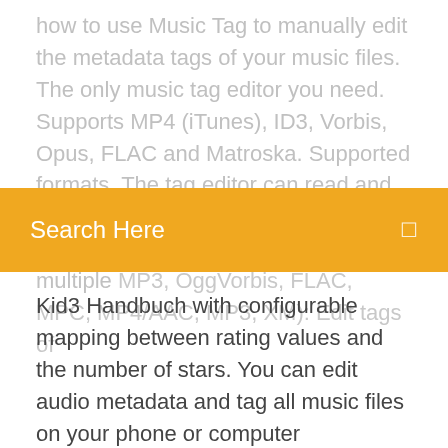how to use Music Tag to manually edit the metadata tags of your music files. The only music tag editor you need. Supports MP4 (iTunes), ID3, Vorbis, Opus, FLAC and Matroska. Supported formats. The tag editor can read and write the following tag formats: iTunes-style MP4/  If you want to easily tag multiple MP3, OggVorbis, FLAC, MPC, MP4/AAC, MP3, XM): Edit tags of
[Figure (other): Orange search bar overlay with text 'Search Here' and a search icon on the right]
Kid3 Handbuch with configurable mapping between rating values and the number of stars. You can edit audio metadata and tag all music files on your phone or computer effortlessly. foobar2000; Top 7: ID3 Music Tag Editor; Top 8: Kid3; Top 9: Tag & Rename; Top 10: Star Music Tag Editor Get manual and batch ID3 tag editor.

Video Star for Android - APK Download 26/02/2018 · Check it out! video star editor & maker is a very popular app for video